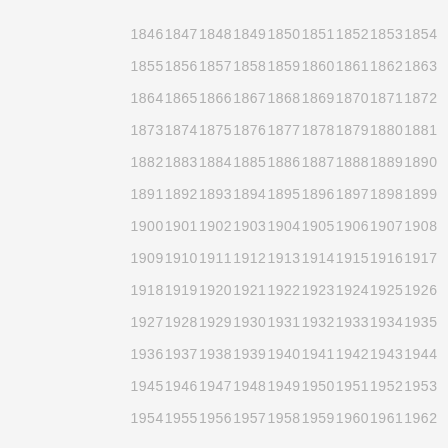1846 1847 1848 1849 1850 1851 1852 1853 1854 1855 1856 1857 1858 1859 1860 1861 1862 1863 1864 1865 1866 1867 1868 1869 1870 1871 1872 1873 1874 1875 1876 1877 1878 1879 1880 1881 1882 1883 1884 1885 1886 1887 1888 1889 1890 1891 1892 1893 1894 1895 1896 1897 1898 1899 1900 1901 1902 1903 1904 1905 1906 1907 1908 1909 1910 1911 1912 1913 1914 1915 1916 1917 1918 1919 1920 1921 1922 1923 1924 1925 1926 1927 1928 1929 1930 1931 1932 1933 1934 1935 1936 1937 1938 1939 1940 1941 1942 1943 1944 1945 1946 1947 1948 1949 1950 1951 1952 1953 1954 1955 1956 1957 1958 1959 1960 1961 1962